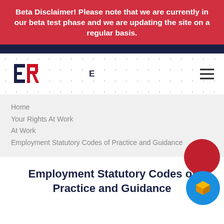Beta Disclaimer! Please note that we are currently in our beta test phase and we are updating the site on a regular basis.
[Figure (logo): ER logo with red and blue letters, navigation bar with hamburger menu icon]
Home
Your Rights At Work
At Work
Employment Statutory Codes of Practice and Guidance
Employment Statutory Codes of Practice and Guidance